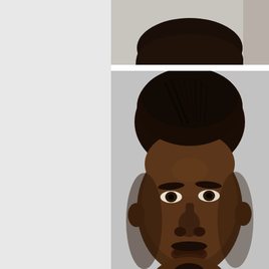[Figure (photo): Partial cropped mugshot photo at top, showing top of head]
[Figure (photo): Full mugshot photo of a Black male with braided hair pulled back, goatee, wearing a red shirt, against a gray background]
Officers responded to the Point Liquor 6 Monday, July 27, 2015, at 12:28pm, afte had just been robbed. Upon the officers black male, wearing a long sleeve shirt, had demanded money then fled the stor from the store southbound and provided license plate number for the vehicle that